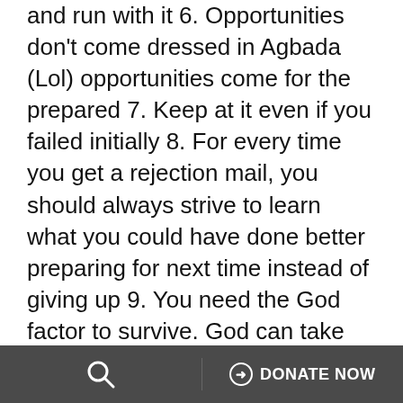and run with it 6. Opportunities don't come dressed in Agbada (Lol) opportunities come for the prepared 7. Keep at it even if you failed initially 8. For every time you get a rejection mail, you should always strive to learn what you could have done better preparing for next time instead of giving up 9. You need the God factor to survive. God can take you to any height regardless of your age 10. Learn to negotiate. People would always offer you what they deem fit, but you have a right to negotiate based on your capabilities. Never settle for less.
Sozo Networks is committed to raising world-class leaders. With excitement, having gained the first-hand experience, Blessing urges youths to embrace any opportunity from Sozo Networks,
🔍   ⊕ DONATE NOW